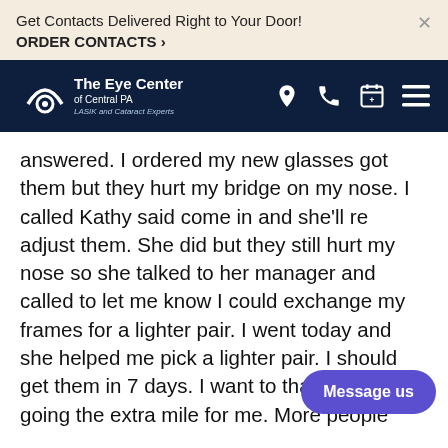Get Contacts Delivered Right to Your Door! ORDER CONTACTS >
[Figure (logo): The Eye Center of Central PA - LASIK and Cataract Experts logo with navigation icons (location, phone, calendar, menu) on dark navy background]
answered. I ordered my new glasses got them but they hurt my bridge on my nose. I called Kathy said come in and she'll re adjust them. She did but they still hurt my nose so she talked to her manager and called to let me know I could exchange my frames for a lighter pair. I went today and she helped me pick a lighter pair. I should get them in 7 days. I want to thank Kathy for going the extra mile for me. More people should be like her. I sure hope her boss reads this to see that people appreciate a sales person like he